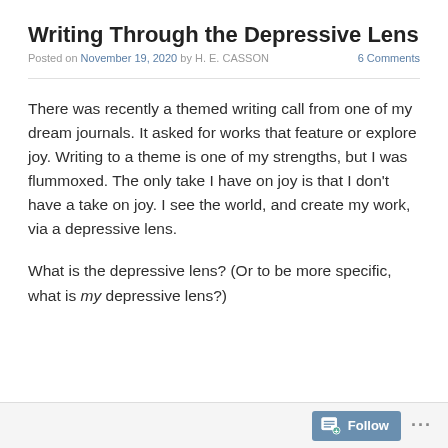Writing Through the Depressive Lens
Posted on November 19, 2020 by H. E. CASSON       6 Comments
There was recently a themed writing call from one of my dream journals. It asked for works that feature or explore joy. Writing to a theme is one of my strengths, but I was flummoxed. The only take I have on joy is that I don’t have a take on joy. I see the world, and create my work, via a depressive lens.
What is the depressive lens? (Or to be more specific, what is my depressive lens?)